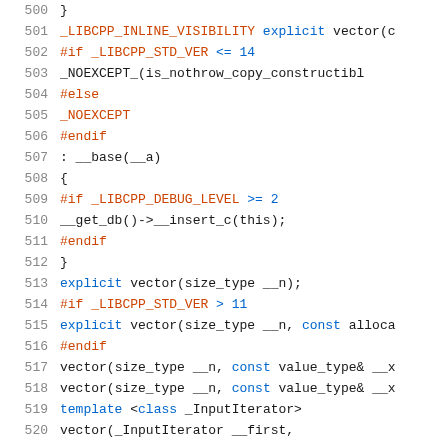[Figure (screenshot): Source code listing showing C++ vector class implementation, lines 500-520, with syntax highlighting. Line numbers in gray on left, preprocessor directives in red/orange, keywords in blue, regular code in dark/black.]